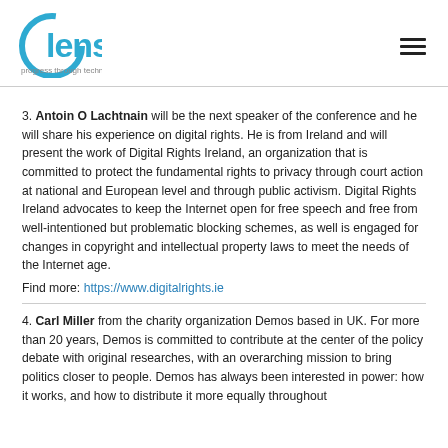lens — progress through technology
3. Antoin O Lachtnain will be the next speaker of the conference and he will share his experience on digital rights. He is from Ireland and will present the work of Digital Rights Ireland, an organization that is committed to protect the fundamental rights to privacy through court action at national and European level and through public activism. Digital Rights Ireland advocates to keep the Internet open for free speech and free from well-intentioned but problematic blocking schemes, as well is engaged for changes in copyright and intellectual property laws to meet the needs of the Internet age.
Find more: https://www.digitalrights.ie
4. Carl Miller from the charity organization Demos based in UK. For more than 20 years, Demos is committed to contribute at the center of the policy debate with original researches, with an overarching mission to bring politics closer to people. Demos has always been interested in power: how it works, and how to distribute it more equally throughout